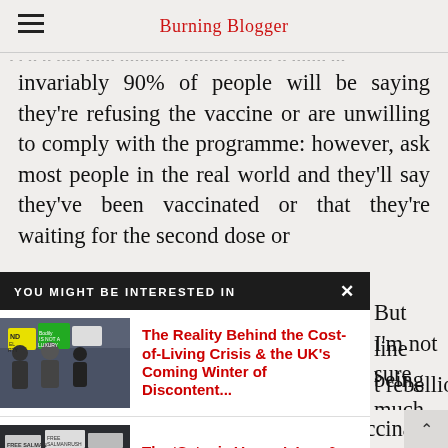Burning Blogger
invariably 90% of people will be saying they're refusing the vaccine or are unwilling to comply with the programme: however, ask most people in the real world and they'll say they've been vaccinated or that they're waiting for the second dose or
[Figure (screenshot): YOU MIGHT BE INTERESTED IN popup overlay with two article links: 1) The Reality Behind the Cost-of-Living Crisis & the UK's Coming Winter of Discontent... with protest image. 2) The 'Satanic Verses', Iran & the Attack on Salman Rushdie... with protest image.]
But I'm not sure
line being much
t rebelliousness
other words, that
a lot of people who claim to be non-vaccinat nd